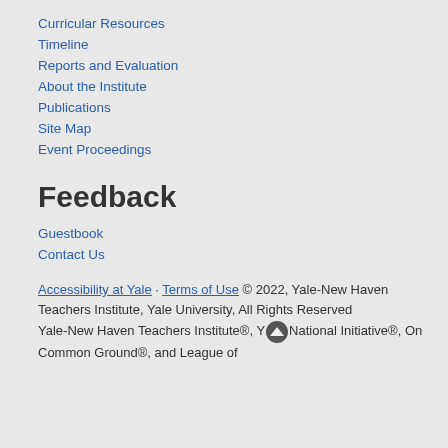Curricular Resources
Timeline
Reports and Evaluation
About the Institute
Publications
Site Map
Event Proceedings
Feedback
Guestbook
Contact Us
Accessibility at Yale · Terms of Use © 2022, Yale-New Haven Teachers Institute, Yale University, All Rights Reserved
Yale-New Haven Teachers Institute®, Yale National Initiative®, On Common Ground®, and League of